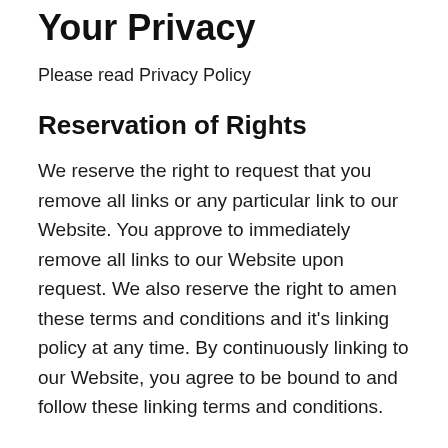Your Privacy
Please read Privacy Policy
Reservation of Rights
We reserve the right to request that you remove all links or any particular link to our Website. You approve to immediately remove all links to our Website upon request. We also reserve the right to amen these terms and conditions and it’s linking policy at any time. By continuously linking to our Website, you agree to be bound to and follow these linking terms and conditions.
Removal of links from our website